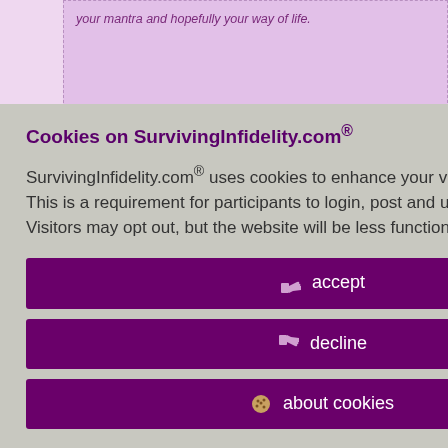your mantra and hopefully your way of life.
itiple EA's. Back at han. Lied about s. Carried on with
iges.
id 8733169
[Figure (screenshot): User profile action icons: person, edit, message, home]
r boundaries tence.
Policy
Cookies on SurvivingInfidelity.com®
SurvivingInfidelity.com® uses cookies to enhance your visit to our website. This is a requirement for participants to login, post and use other features. Visitors may opt out, but the website will be less functional for you.
accept
decline
about cookies